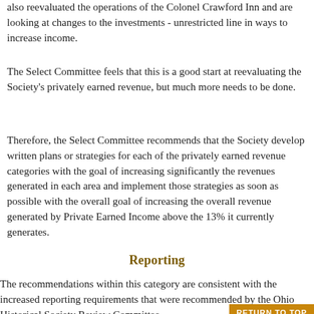also reevaluated the operations of the Colonel Crawford Inn and are looking at changes to the investments - unrestricted line in ways to increase income.
The Select Committee feels that this is a good start at reevaluating the Society's privately earned revenue, but much more needs to be done.
Therefore, the Select Committee recommends that the Society develop written plans or strategies for each of the privately earned revenue categories with the goal of increasing significantly the revenues generated in each area and implement those strategies as soon as possible with the overall goal of increasing the overall revenue generated by Private Earned Income above the 13% it currently generates.
Reporting
The recommendations within this category are consistent with the increased reporting requirements that were recommended by the Ohio Historical Society Review Committee.